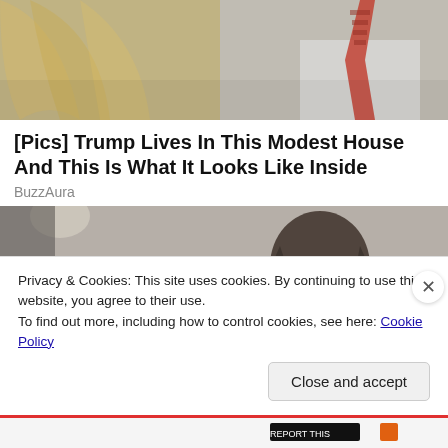[Figure (photo): Cropped photo showing a blonde woman and a man in a white shirt with red patterned tie]
[Pics] Trump Lives In This Modest House And This Is What It Looks Like Inside
BuzzAura
[Figure (photo): Photo of a woman with dark hair, seen from behind, in a room]
Privacy & Cookies: This site uses cookies. By continuing to use this website, you agree to their use.
To find out more, including how to control cookies, see here: Cookie Policy